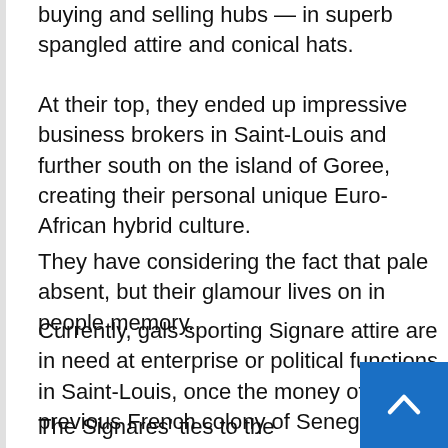buying and selling hubs — in superb spangled attire and conical hats.
At their top, they ended up impressive business brokers in Saint-Louis and further south on the island of Goree, creating their personal unique Euro-African hybrid culture.
They have considering the fact that pale absent, but their glamour lives on in people memory.
Currently, gals sporting Signare attire are in need at enterprise or political functions in Saint-Louis, once the money of the previous French colony of Senegal.
The Signares' ties to the slave trade are possibly unidentified or go mostly with out comment.